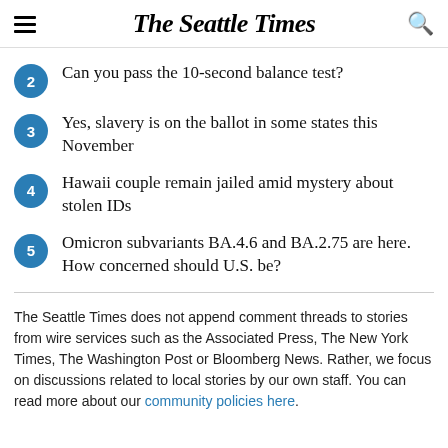The Seattle Times
2 Can you pass the 10-second balance test?
3 Yes, slavery is on the ballot in some states this November
4 Hawaii couple remain jailed amid mystery about stolen IDs
5 Omicron subvariants BA.4.6 and BA.2.75 are here. How concerned should U.S. be?
The Seattle Times does not append comment threads to stories from wire services such as the Associated Press, The New York Times, The Washington Post or Bloomberg News. Rather, we focus on discussions related to local stories by our own staff. You can read more about our community policies here.